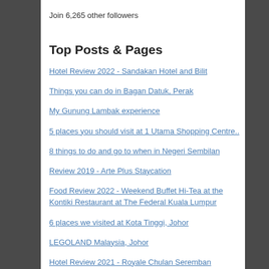Join 6,265 other followers
Top Posts & Pages
Hotel Review 2022 - Sandakan Hotel and Bilit
Things you can do in Bagan Datuk, Perak
My Gunung Lambak experience
5 places you should visit at 1 Utama Shopping Centre..
8 things to do and go to when in Negeri Sembilan
Review 2019 - Arte Plus Staycation
Food Review 2022 - Weekend Buffet Hi-Tea at the Kontiki Restaurant at The Federal Kuala Lumpur
6 places we visited at Kota Tinggi, Johor
LEGOLAND Malaysia, Johor
Hotel Review 2021 - Royale Chulan Seremban